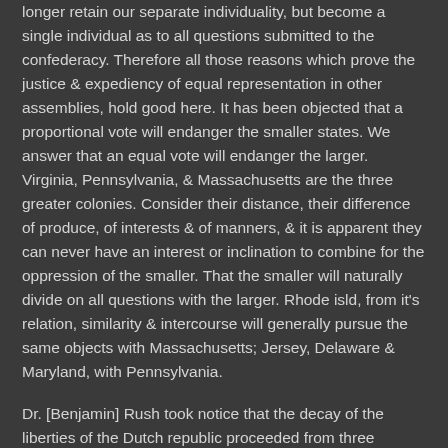longer retain our separate individuality, but become a single individual as to all questions submitted to the confederacy. Therefore all those reasons which prove the justice & expediency of equal representation in other assemblies, hold good here. It has been objected that a proportional vote will endanger the smaller states. We answer that an equal vote will endanger the larger. Virginia, Pennsylvania, & Massachusetts are the three greater colonies. Consider their distance, their difference of produce, of interests & of manners, & it is apparent they can never have an interest or inclination to combine for the oppression of the smaller. That the smaller will naturally divide on all questions with the larger. Rhode isld, from it's relation, similarity & intercourse will generally pursue the same objects with Massachusetts; Jersey, Delaware & Maryland, with Pennsylvania.
Dr. [Benjamin] Rush took notice that the decay of the liberties of the Dutch republic proceeded from three causes. 1. The perfect unanimity requisite on all occasions. 2. Their obligation to consult their constituents. 3. Their voting by provinces. This last destroyed